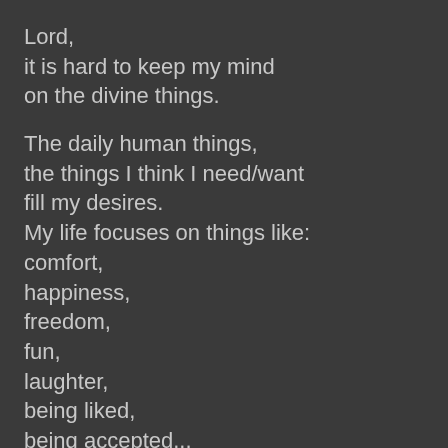Lord,
it is hard to keep my mind
on the divine things.
The daily human things,
the things I think I need/want
fill my desires.
My life focuses on things like:
comfort,
happiness,
freedom,
fun,
laughter,
being liked,
being accepted...
Lord,
what are the divine things?
Lord Jesus,
your life focused on: